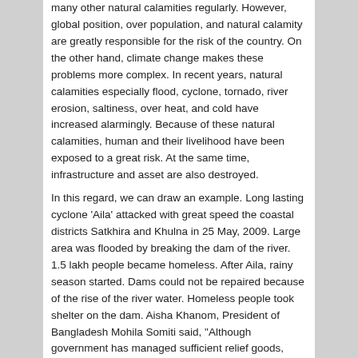many other natural calamities regularly. However, global position, over population, and natural calamity are greatly responsible for the risk of the country. On the other hand, climate change makes these problems more complex. In recent years, natural calamities especially flood, cyclone, tornado, river erosion, saltiness, over heat, and cold have increased alarmingly. Because of these natural calamities, human and their livelihood have been exposed to a great risk. At the same time, infrastructure and asset are also destroyed.
In this regard, we can draw an example. Long lasting cyclone 'Aila' attacked with great speed the coastal districts Satkhira and Khulna in 25 May, 2009. Large area was flooded by breaking the dam of the river. 1.5 lakh people became homeless. After Aila, rainy season started. Dams could not be repaired because of the rise of the river water. Homeless people took shelter on the dam. Aisha Khanom, President of Bangladesh Mohila Somiti said, "Although government has managed sufficient relief goods, crisis of pure drinking water and medical facilities still remains. It effects greatly on women and children." No doctor is available in two villages. According to the